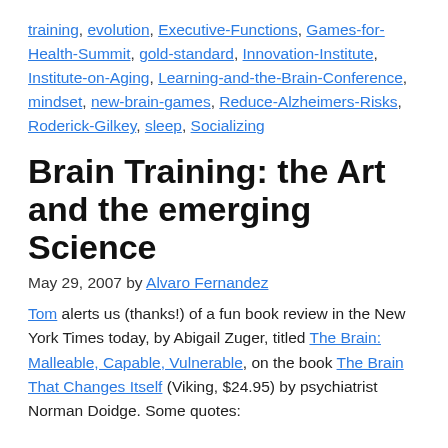training, evolution, Executive-Functions, Games-for-Health-Summit, gold-standard, Innovation-Institute, Institute-on-Aging, Learning-and-the-Brain-Conference, mindset, new-brain-games, Reduce-Alzheimers-Risks, Roderick-Gilkey, sleep, Socializing
Brain Training: the Art and the emerging Science
May 29, 2007 by Alvaro Fernandez
Tom alerts us (thanks!) of a fun book review in the New York Times today, by Abigail Zuger, titled The Brain: Malleable, Capable, Vulnerable, on the book The Brain That Changes Itself (Viking, $24.95) by psychiatrist Norman Doidge. Some quotes: